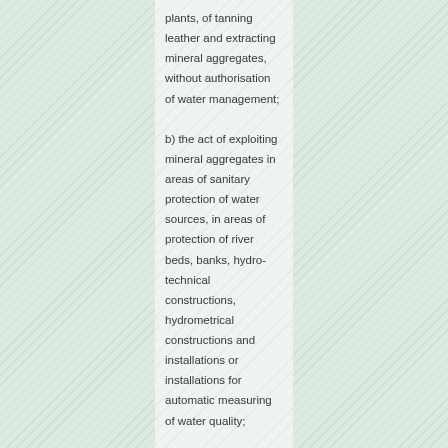plants, of tanning leather and extracting mineral aggregates, without authorisation of water management;
b) the act of exploiting mineral aggregates in areas of sanitary protection of water sources, in areas of protection of river beds, banks, hydro-technical constructions, hydrometrical constructions and installations or installations for automatic measuring of water quality;
c) the use of minor river beds, without authorisation of water management, as well as of the sea beach and shore in